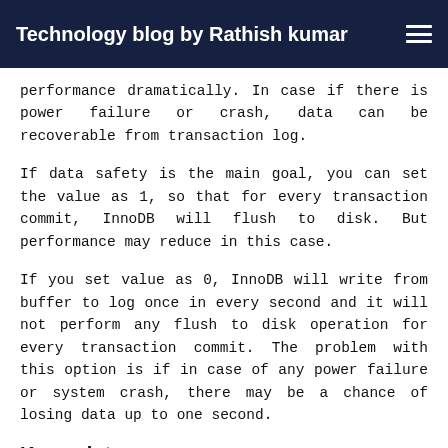Technology blog by Rathish kumar
performance dramatically. In case if there is power failure or crash, data can be recoverable from transaction log.
If data safety is the main goal, you can set the value as 1, so that for every transaction commit, InnoDB will flush to disk. But performance may reduce in this case.
If you set value as 0, InnoDB will write from buffer to log once in every second and it will not perform any flush to disk operation for every transaction commit. The problem with this option is if in case of any power failure or system crash, there may be a chance of losing data up to one second.
Key points:
During buffer to log operation, i.e. writing from InnoDB